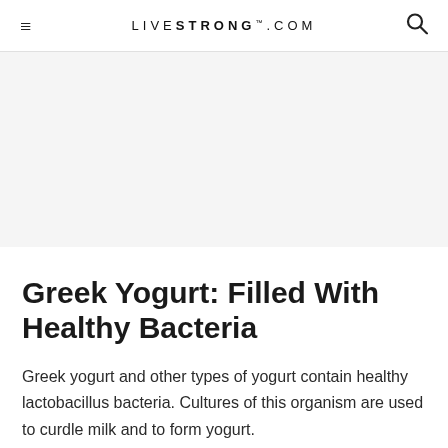≡  LIVESTRONG.COM  🔍
[Figure (other): Gray advertisement placeholder area]
Greek Yogurt: Filled With Healthy Bacteria
Greek yogurt and other types of yogurt contain healthy lactobacillus bacteria. Cultures of this organism are used to curdle milk and to form yogurt. MayoClinic.com reports that lactobacillus in yogurt may